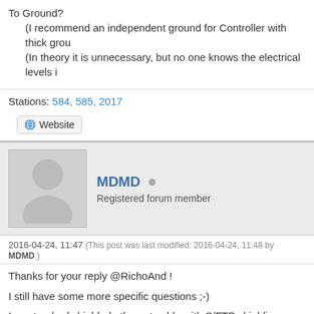To Ground?
    (I recommend an independent ground for Controller with thick grou...
    (In theory it is unnecessary, but no one knows the electrical levels i...
Stations: 584, 585, 2017
Website
MDMD
Registered forum member
2016-04-24, 11:47 (This post was last modified: 2016-04-24, 11:48 by MDMD.)
Thanks for your reply @RichoAnd !
I still have some more specific questions ;-)
Is a standard shielded ethernet cable with S/FTP shielding sufficient f...
Does the H-field amplifier need an external power supply? Or is it sup...